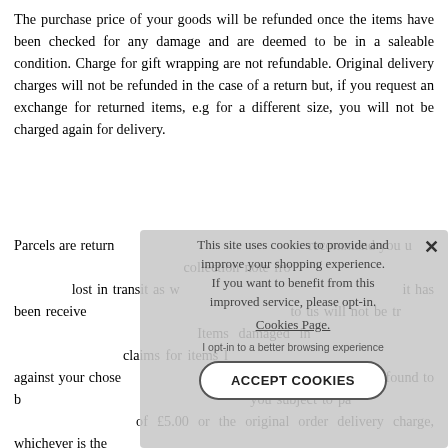The purchase price of your goods will be refunded once the items have been checked for any damage and are deemed to be in a saleable condition. Charge for gift wrapping are not refundable. Original delivery charges will not be refunded in the case of a return but, if you request an exchange for returned items, e.g for a different size, you will not be charged again for delivery.
Parcels are returned at your own cost. We strongly recommend you use a tracked service and obtain a collection note from the carrier in case the item gets lost in transit as we are unable to process a refund until it has been received by us. Any item that is returned to us will not be tracked using a signed for service. Items damaged in the post are your responsibility and claims for items lost in transit will need to be made against your chosen carrier. Any items that are returned that are found to be in a non-saleable condition will cost you subject to pay a restocking fee of the greater of £5.00 or the original order delivery charge, whichever is the
This site uses cookies to provide and improve your shopping experience. If you want to benefit from this improved service, please opt-in.
Cookies Page.
I opt-in to a better browsing experience
ACCEPT COOKIES